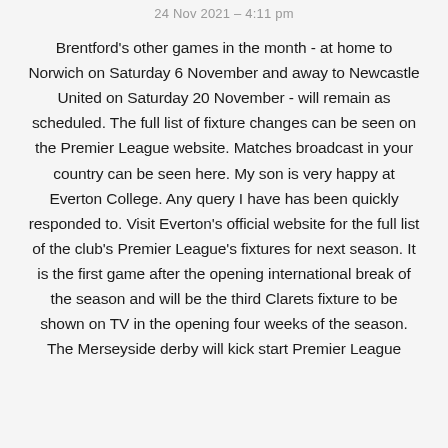24 Nov 2021 - 4:11 pm
Brentford's other games in the month - at home to Norwich on Saturday 6 November and away to Newcastle United on Saturday 20 November - will remain as scheduled. The full list of fixture changes can be seen on the Premier League website. Matches broadcast in your country can be seen here. My son is very happy at Everton College. Any query I have has been quickly responded to. Visit Everton's official website for the full list of the club's Premier League's fixtures for next season. It is the first game after the opening international break of the season and will be the third Clarets fixture to be shown on TV in the opening four weeks of the season. The Merseyside derby will kick start Premier League